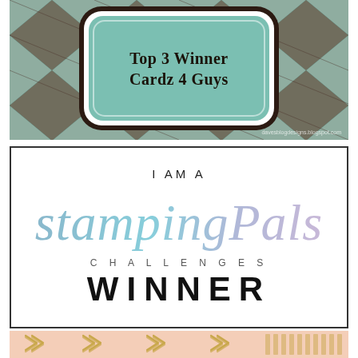[Figure (illustration): Top 3 Winner badge for Cardz 4 Guys with argyle diamond pattern background in teal and brown colors. Badge has scalloped edges with dark border containing text 'Top 3 Winner Cardz 4 Guys'.]
[Figure (logo): StampingPals Challenges Winner badge with white background and black border. Text reads 'I AM A StampingPals CHALLENGES WINNER' in mixed typography with watercolor gradient script lettering for StampingPals.]
[Figure (illustration): Bottom strip with peach/salmon background showing gold chevron/arrow decorative patterns.]